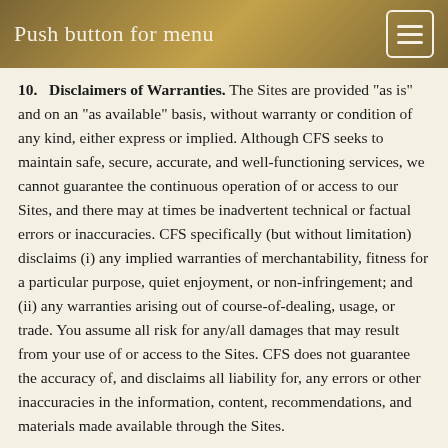Push button for menu
10. Disclaimers of Warranties. The Sites are provided "as is" and on an "as available" basis, without warranty or condition of any kind, either express or implied. Although CFS seeks to maintain safe, secure, accurate, and well-functioning services, we cannot guarantee the continuous operation of or access to our Sites, and there may at times be inadvertent technical or factual errors or inaccuracies. CFS specifically (but without limitation) disclaims (i) any implied warranties of merchantability, fitness for a particular purpose, quiet enjoyment, or non-infringement; and (ii) any warranties arising out of course-of-dealing, usage, or trade. You assume all risk for any/all damages that may result from your use of or access to the Sites. CFS does not guarantee the accuracy of, and disclaims all liability for, any errors or other inaccuracies in the information, content, recommendations, and materials made available through the Sites.
11. Limitation of Liability. In no event will CFS be liable for…